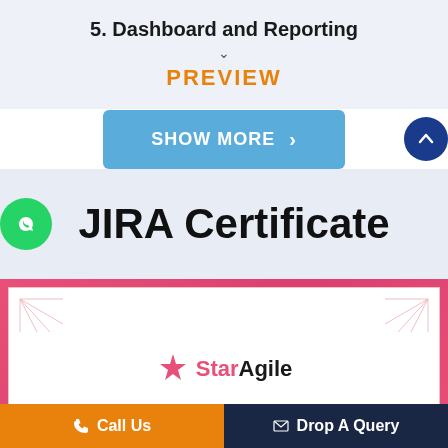5. Dashboard and Reporting
PREVIEW
SHOW MORE >
JIRA Certificate
[Figure (logo): StarAgile logo with star icon and brand name]
Call Us   Drop A Query